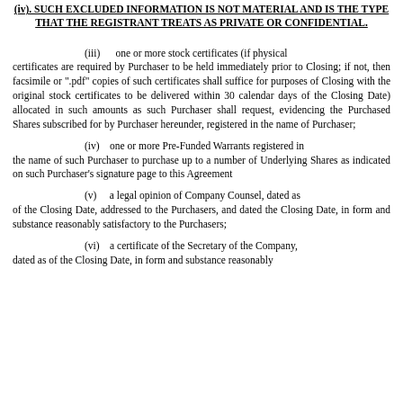(iv). SUCH EXCLUDED INFORMATION IS NOT MATERIAL AND IS THE TYPE THAT THE REGISTRANT TREATS AS PRIVATE OR CONFIDENTIAL.
(iii)    one or more stock certificates (if physical certificates are required by Purchaser to be held immediately prior to Closing; if not, then facsimile or ".pdf" copies of such certificates shall suffice for purposes of Closing with the original stock certificates to be delivered within 30 calendar days of the Closing Date) allocated in such amounts as such Purchaser shall request, evidencing the Purchased Shares subscribed for by Purchaser hereunder, registered in the name of Purchaser;
(iv)    one or more Pre-Funded Warrants registered in the name of such Purchaser to purchase up to a number of Underlying Shares as indicated on such Purchaser's signature page to this Agreement
(v)    a legal opinion of Company Counsel, dated as of the Closing Date, addressed to the Purchasers, and dated the Closing Date, in form and substance reasonably satisfactory to the Purchasers;
(vi)    a certificate of the Secretary of the Company, dated as of the Closing Date, in form and substance reasonably